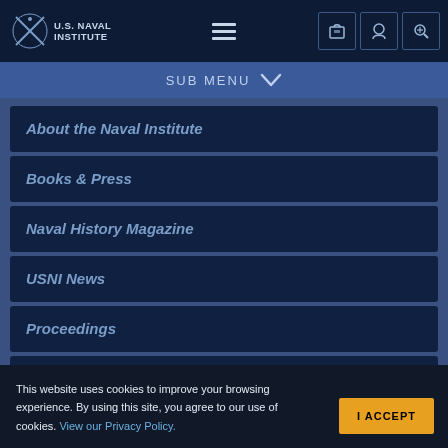U.S. Naval Institute
About the Naval Institute
Books & Press
Naval History Magazine
USNI News
Proceedings
Oral Histories
This website uses cookies to improve your browsing experience. By using this site, you agree to our use of cookies. View our Privacy Policy.